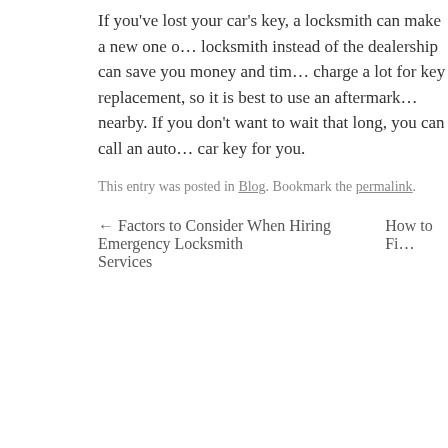If you've lost your car's key, a locksmith can make a new one o… locksmith instead of the dealership can save you money and tim… charge a lot for key replacement, so it is best to use an aftermark… nearby. If you don't want to wait that long, you can call an auto… car key for you.
This entry was posted in Blog. Bookmark the permalink.
← Factors to Consider When Hiring Emergency Locksmith Services    How to Fi…